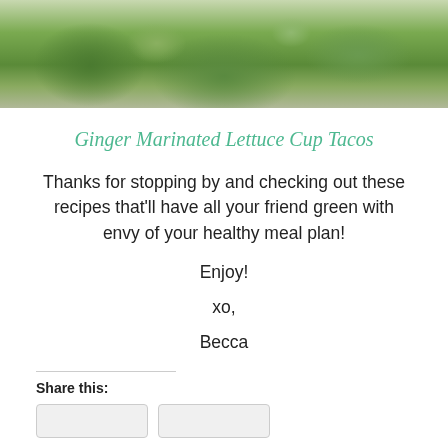[Figure (photo): Close-up photo of ginger marinated lettuce cup tacos showing green lettuce leaves, cucumber slices, and filling on a plate]
Ginger Marinated Lettuce Cup Tacos
Thanks for stopping by and checking out these recipes that'll have all your friend green with envy of your healthy meal plan!
Enjoy!
xo,
Becca
Share this: